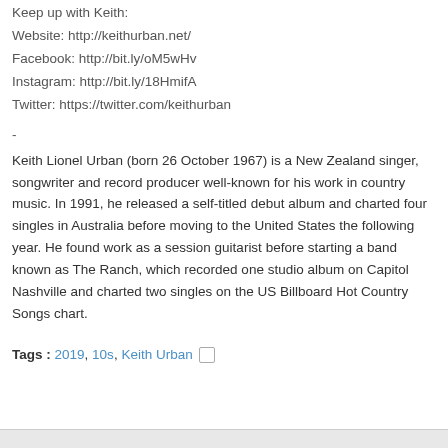Keep up with Keith:
Website: http://keithurban.net/
Facebook: http://bit.ly/oM5wHv
Instagram: http://bit.ly/18HmifA
Twitter: https://twitter.com/keithurban
-
Keith Lionel Urban (born 26 October 1967) is a New Zealand singer, songwriter and record producer well-known for his work in country music. In 1991, he released a self-titled debut album and charted four singles in Australia before moving to the United States the following year. He found work as a session guitarist before starting a band known as The Ranch, which recorded one studio album on Capitol Nashville and charted two singles on the US Billboard Hot Country Songs chart.
Tags : 2019, 10s, Keith Urban